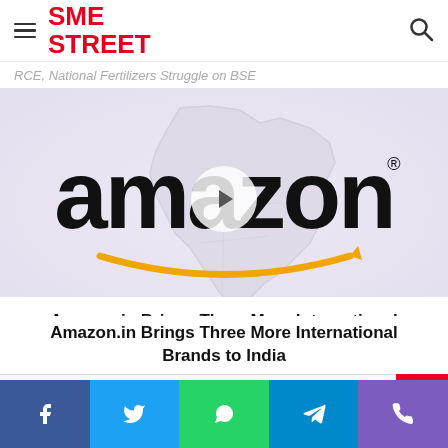SME STREET
RCE, National Fertilizers Struggle on BSE
[Figure (screenshot): Amazon logo with India map background and video play button overlay]
Amazon.in Brings Three More International Brands to India
Related Articles
Social share bar with Facebook, Twitter, WhatsApp, Telegram, Phone icons